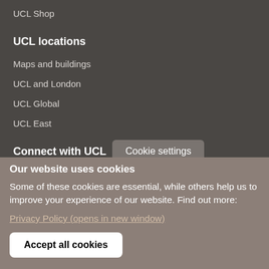UCL Shop
UCL locations
Maps and buildings
UCL and London
UCL Global
UCL East
Connect with UCL
Cookie settings
Our website uses cookies
Some of these cookies are essential, while others help us to improve your experience of our website. Find out more:
Privacy Policy (opens in new window)
Accept all cookies